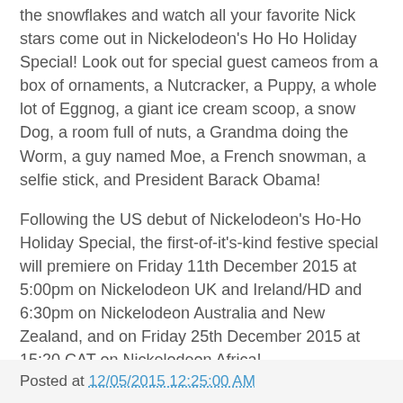the snowflakes and watch all your favorite Nick stars come out in Nickelodeon's Ho Ho Holiday Special! Look out for special guest cameos from a box of ornaments, a Nutcracker, a Puppy, a whole lot of Eggnog, a giant ice cream scoop, a snow Dog, a room full of nuts, a Grandma doing the Worm, a guy named Moe, a French snowman, a selfie stick, and President Barack Obama!
Following the US debut of Nickelodeon's Ho-Ho Holiday Special, the first-of-it's-kind festive special will premiere on Friday 11th December 2015 at 5:00pm on Nickelodeon UK and Ireland/HD and 6:30pm on Nickelodeon Australia and New Zealand, and on Friday 25th December 2015 at 15:20 CAT on Nickelodeon Africa!
Follow NickALive! on Twitter, Tumblr, Google+, via RSS, on Instagram, and/or Facebook for the latest Holidays on Nickelodeon and Nick's Ho-Ho Holiday Special News and Highlights!
Posted at 12/05/2015 12:25:00 AM